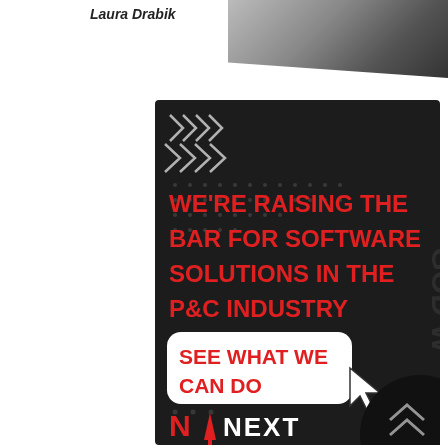Laura Drabik
[Figure (infographic): Dark advertisement banner for insurance software company. Text reads: WE'RE RAISING THE BAR FOR SOFTWARE SOLUTIONS IN THE P&C INDUSTRY. Call to action button: SEE WHAT WE CAN DO. Logo at bottom: N1 NEXT with red upward arrow. Decorative chevron arrows at top-left, dot grid pattern, cursor arrow graphic, and 'GOOD WOR...' watermark text.]